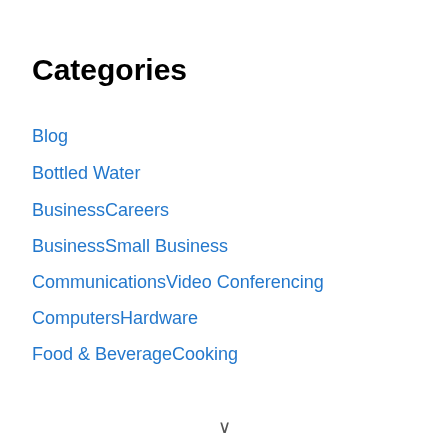Categories
Blog
Bottled Water
BusinessCareers
BusinessSmall Business
CommunicationsVideo Conferencing
ComputersHardware
Food & BeverageCooking